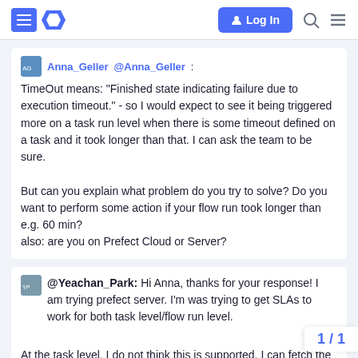Log In
@Anna_Geller: TimeOut means: "Finished state indicating failure due to execution timeout." - so I would expect to see it being triggered more on a task run level when there is some timeout defined on a task and it took longer than that. I can ask the team to be sure.

But can you explain what problem do you try to solve? Do you want to perform some action if your flow run took longer than e.g. 60 min?
also: are you on Prefect Cloud or Server?
@Yeachan_Park: Hi Anna, thanks for your response! I am trying prefect server. I'm was trying to get SLAs to work for both task level/flow run level.

At the task level, I do not think this is supported. I can fetch the TimeOut state if the task times out, and use a statehandler to send a message wherever, but not via a cloud hook as far as I can tell, since cloud hooks seem to be flo way, I guess there is no way for whatever i
1 / 1